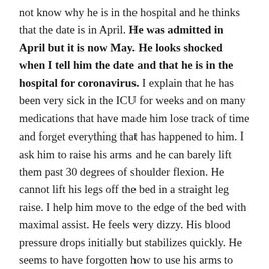…not know why he is in the hospital and he thinks that the date is in April. He was admitted in April but it is now May. He looks shocked when I tell him the date and that he is in the hospital for coronavirus. I explain that he has been very sick in the ICU for weeks and on many medications that have made him lose track of time and forget everything that has happened to him. I ask him to raise his arms and he can barely lift them past 30 degrees of shoulder flexion. He cannot lift his legs off the bed in a straight leg raise. I help him move to the edge of the bed with maximal assist. He feels very dizzy. His blood pressure drops initially but stabilizes quickly. He seems to have forgotten how to use his arms to help support him while sitting on the edge of bed. After several minutes, he finds his equilibrium and can sit up with only a minimal amount of assist. He whispers, "This is so